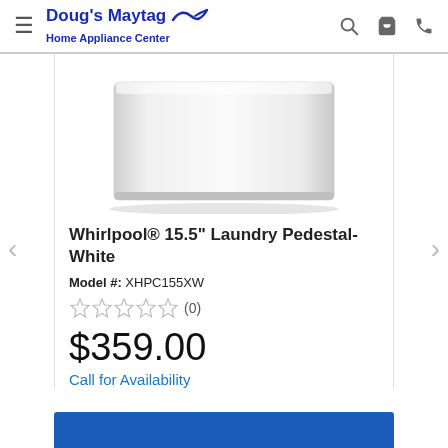Doug's Maytag Home Appliance Center
[Figure (photo): Whirlpool 15.5 inch Laundry Pedestal in White, product photo showing a white rectangular pedestal appliance]
Whirlpool® 15.5" Laundry Pedestal- White
Model #: XHPC155XW
★★★★★ (0)
$359.00
Call for Availability